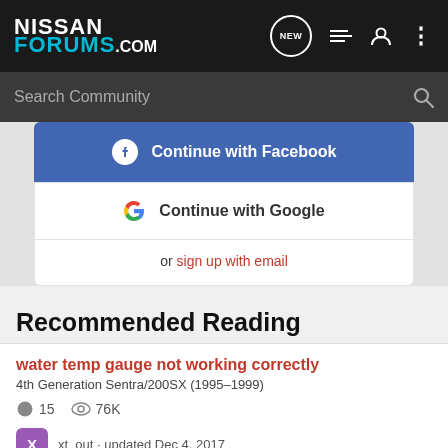NISSAN FORUMS.COM
Search Community
[Figure (screenshot): Continue with Facebook button and Continue with Google button, with 'or sign up with email' link below]
Recommended Reading
water temp gauge not working correctly
4th Generation Sentra/200SX (1995–1999)
15  76K
xt_out · updated Dec 4, 2017